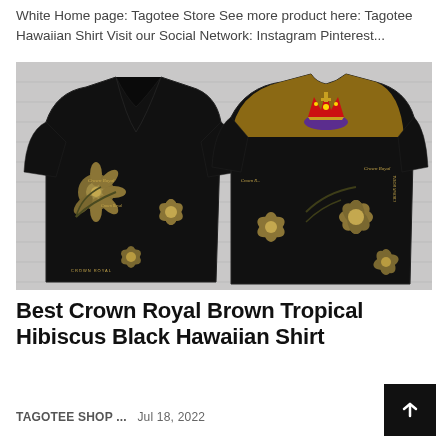White Home page: Tagotee Store See more product here: Tagotee Hawaiian Shirt Visit our Social Network: Instagram Pinterest...
[Figure (photo): Two Crown Royal Hawaiian shirts displayed front and back. Black shirts with brown/gold hibiscus flowers, palm leaves, and Crown Royal branding/logos. The back of one shirt shows a large Crown Royal crown logo on a tan/brown yoke panel.]
Best Crown Royal Brown Tropical Hibiscus Black Hawaiian Shirt
TAGOTEE SHOP ...   Jul 18, 2022